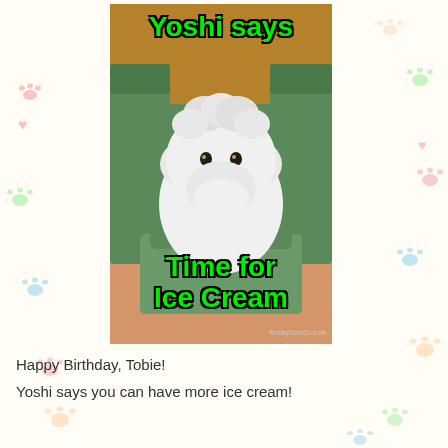[Figure (photo): A meme image featuring a white fluffy dog (appears to be a Maltese or similar breed) sitting on a teal/green chair. The dog has a round, fluffy face with dark eyes and nose. The meme text at the top reads 'Yoshi says' and at the bottom reads 'Time for Ice Cream' in bold green Impact font with black outline. Watermark: RockyGunCo.com]
Happy Birthday, Tobie!
Yoshi says you can have more ice cream!